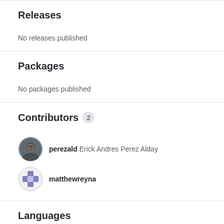Releases
No releases published
Packages
No packages published
Contributors 2
[Figure (photo): Avatar of perezald contributor]
perezald Erick Andres Perez Alday
[Figure (photo): Avatar of matthewreyna contributor]
matthewreyna
Languages